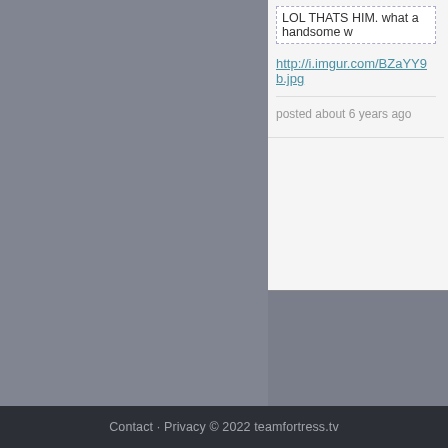LOL THATS HIM. what a handsome w
http://i.imgur.com/BZaYY9b.jpg
posted about 6 years ago
[Figure (screenshot): Gray sidebar box area (partially visible)]
Contact · Privacy © 2022 teamfortress.tv